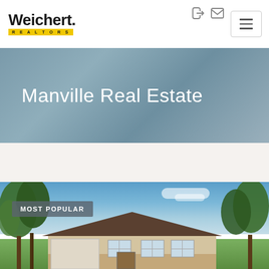[Figure (logo): Weichert Realtors logo with bold black text and yellow underline banner]
[Figure (other): Top-right navigation icons: login/user icon and envelope/mail icon]
[Figure (other): Hamburger menu button (three horizontal lines) in top right corner]
Manville Real Estate
[Figure (photo): Exterior photo of a single-story ranch-style home with brick facade, large trees, blue sky, with a MOST POPULAR badge overlay in top left]
MOST POPULAR